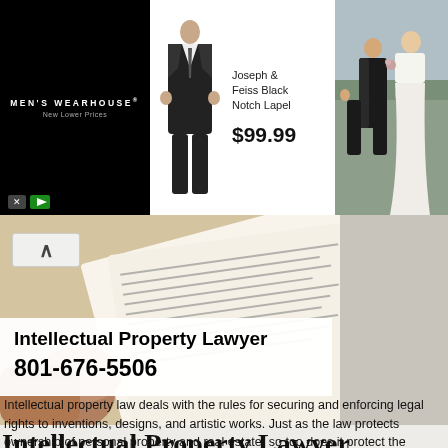[Figure (photo): Men's Wearhouse advertisement banner showing a suit product (Joseph & Feiss Black Notch Lapel, $99.99) with a man in a suit on the left, center product image, and a couple in formal wear on the right. Black background on left with white text.]
[Figure (photo): Hero image showing hands holding or reviewing a legal document with text visible, set against a light beige/tan background. An up-arrow navigation button is visible in the upper left of this section.]
Intellectual Property Lawyer
801-676-5506
Intellectual Property Lawyer
Intellectual property law deals with the rules for securing and enforcing legal rights to inventions, designs, and artistic works. Just as the law protects ownership of personal property and real estate, so too does it protect the exclusive control of intangible assets. The purpose of these laws is to give an incentive for people to develop creative works that